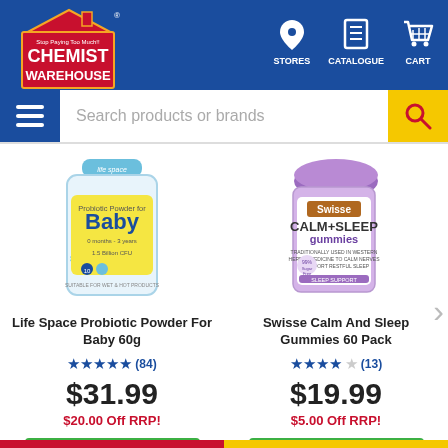[Figure (logo): Chemist Warehouse logo with red house icon, white text on blue background]
[Figure (infographic): Navigation icons: Stores (map pin), Catalogue (document), Cart (basket)]
[Figure (infographic): Search bar with hamburger menu icon, placeholder text, and yellow search button]
[Figure (photo): Life Space Probiotic Powder For Baby 60g product image - white bottle with blue lid and yellow label]
Life Space Probiotic Powder For Baby 60g
★★★★★ (84)
$31.99
$20.00 Off RRP!
[Figure (photo): Swisse Calm And Sleep Gummies 60 Pack product image - purple lid jar with white label]
Swisse Calm And Sleep Gummies 60 Pack
★★★★☆ (13)
$19.99
$5.00 Off RRP!